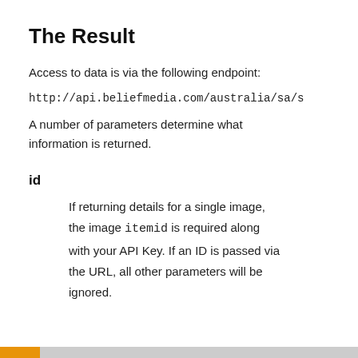The Result
Access to data is via the following endpoint:
http://api.beliefmedia.com/australia/sa/s
A number of parameters determine what information is returned.
id
If returning details for a single image, the image itemid is required along with your API Key. If an ID is passed via the URL, all other parameters will be ignored.